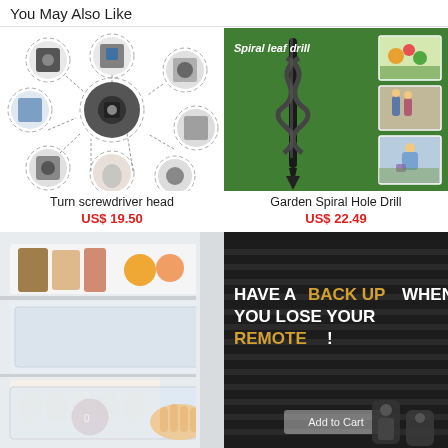You May Also Like
[Figure (photo): Turn screwdriver head product showing multiple circular detail shots of a metal screwdriver adapter/socket set on white background]
[Figure (photo): Garden Spiral Hole Drill product on green grass background with text 'Spiral leaf drill' and side photos showing people gardening]
Turn screwdriver head
US$ 19.50
Garden Spiral Hole Drill
US$ 22.49
[Figure (photo): Refrigerator interior showing food items, drawers, eggs and a hand pulling out a clear storage container]
[Figure (photo): Dark background image with text 'HAVE A BACK UP WHEN YOU LOSE YOUR REMOTE!' and an Add to Cart button overlay, showing remote controls]